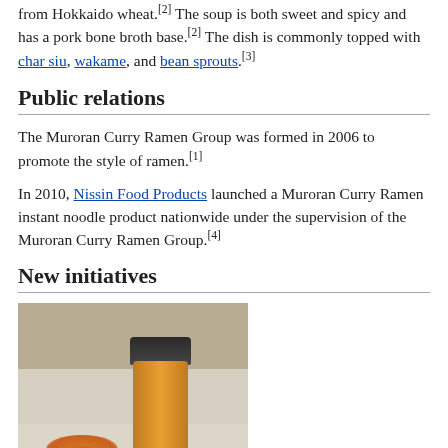from Hokkaido wheat.[2] The soup is both sweet and spicy and has a pork bone broth base.[2] The dish is commonly topped with char siu, wakame, and bean sprouts.[3]
Public relations
The Muroran Curry Ramen Group was formed in 2006 to promote the style of ramen.[1]
In 2010, Nissin Food Products launched a Muroran Curry Ramen instant noodle product nationwide under the supervision of the Muroran Curry Ramen Group.[4]
New initiatives
[Figure (photo): Photo of a spice jar (curry powder) with a metallic lid, next to a small pile of orange-brown curry powder spice on a white surface, against a neutral background.]